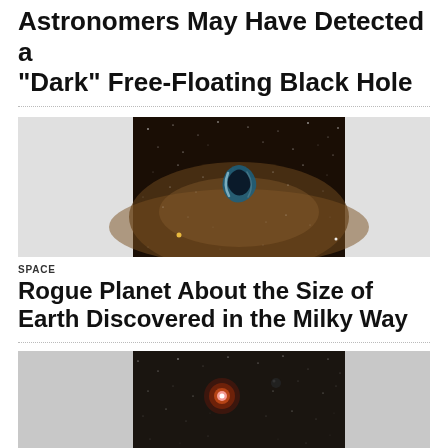Astronomers May Have Detected a “Dark” Free-Floating Black Hole
[Figure (photo): Artistic illustration of a black hole gravitational lensing effect against a starfield / Milky Way background, showing a crescent-shaped lensed light around a dark central object]
SPACE
Rogue Planet About the Size of Earth Discovered in the Milky Way
[Figure (photo): Artistic illustration of a rogue planet (small dark sphere) near a glowing red star against a starfield background]